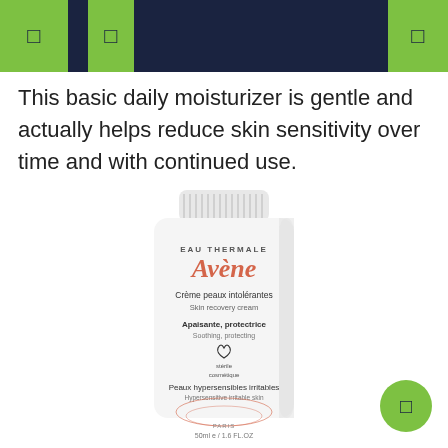Navigation header with icons
This basic daily moisturizer is gentle and actually helps reduce skin sensitivity over time and with continued use.
[Figure (photo): Avène Eau Thermale Skin Recovery Cream tube product photo. White tube with coral/salmon colored Avène branding. Labels: EAU THERMALE, Avène, Crème peaux intolérantes, Skin recovery cream, Apaisante, protectrice, Soothing, protecting, stérile cosmétique logo, Peaux hypersensibles irritables, Hypersensitive irritable skin, PARIS, 50ml / 1.6 FL.OZ]